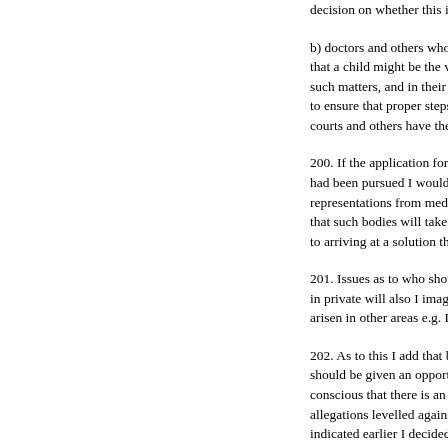decision on whether this is or is not t
b) doctors and others who are in a po that a child might be the victim of in such matters, and in their investigatio to ensure that proper steps are taken t courts and others have the benefit of
200. If the application for publication of th had been pursued I would have considered representations from medical bodies, or on that such bodies will take an active part in t to arriving at a solution that promotes such
201. Issues as to who should be notified be in private will also I imagine be part of the arisen in other areas e.g. DTI inspections.
202. As to this I add that before identifying should be given an opportunity to make rep conscious that there is an appeal relating to allegations levelled against him in those pr indicated earlier I decided that he should be is already in the public domain and an aspe identifying him even if he was to be descri
Keywords:    care proceedings    children